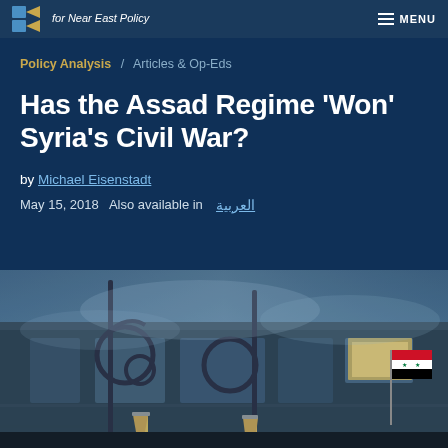for Near East Policy  MENU
Policy Analysis / Articles & Op-Eds
Has the Assad Regime 'Won' Syria's Civil War?
by Michael Eisenstadt
May 15, 2018  Also available in  العربية
[Figure (photo): Nighttime street scene in Damascus, Syria, showing ornate iron lamp posts and a building facade with a Syrian flag visible in the lower right corner. The image has a dark blue/grey atmospheric tone with haze or smoke in the air.]